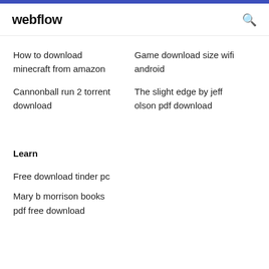webflow
How to download minecraft from amazon
Game download size wifi android
Cannonball run 2 torrent download
The slight edge by jeff olson pdf download
Learn
Free download tinder pc
Mary b morrison books pdf free download